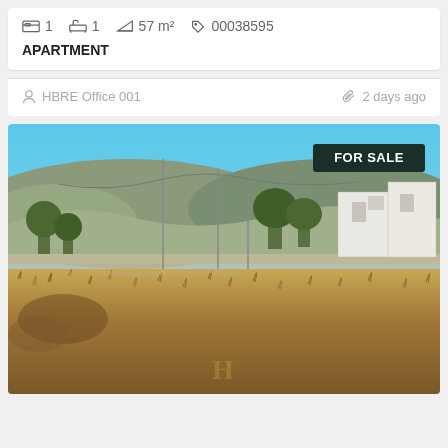🛏 1   🛁 1   📐 57 m²   🏷 00038595
APARTMENT
HBRE Office 001
2 days ago
[Figure (photo): Outdoor photo of a vacant lot with dry overgrown vegetation in the foreground. In the background there are white multi-storey buildings, green trees, and hills/mountains under a clear blue sky. A 'FOR SALE' dark badge appears in the upper right corner of the photo. A faint watermark 'H' is visible at the bottom center.]